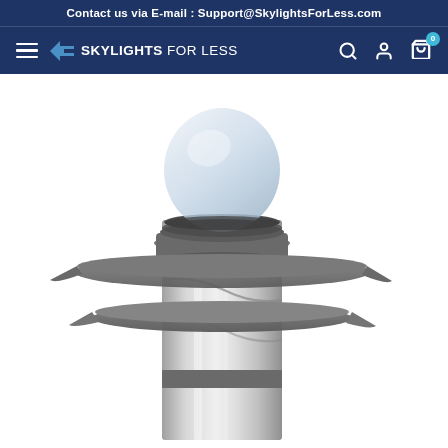Contact us via E-mail : Support@SkylightsForLess.com
SKYLIGHTS FOR LESS — navigation bar with hamburger menu, logo, search, account, and cart icons
[Figure (photo): Close-up product photo of a tubular skylight component — a cylindrical metallic silver tube topped with a dome-shaped clear acrylic lens and a wide flat grey flashing collar/flange, shown against a white background.]